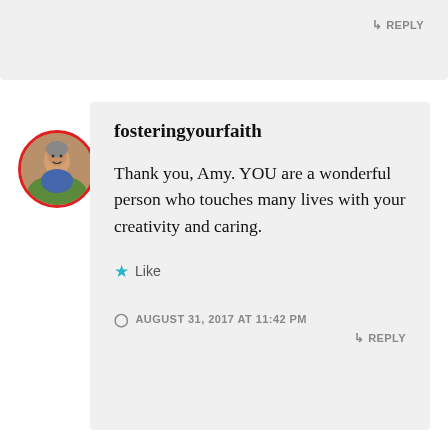↳ REPLY
[Figure (photo): Circular avatar photo of a person with a red border, showing a woman outdoors]
fosteringyourfaith
Thank you, Amy. YOU are a wonderful person who touches many lives with your creativity and caring.
★ Like
AUGUST 31, 2017 AT 11:42 PM
↳ REPLY